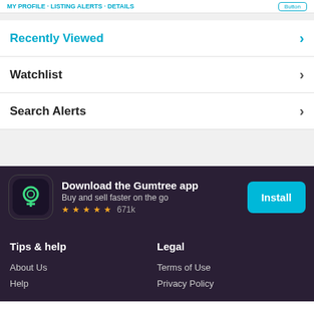Recently Viewed · Watchlist · Search Alerts
Recently Viewed
Watchlist
Search Alerts
[Figure (infographic): Gumtree app download banner with app icon, title 'Download the Gumtree app', subtitle 'Buy and sell faster on the go', star rating 4.5 stars, 671k reviews, and Install button]
Tips & help
Legal
About Us
Help
Terms of Use
Privacy Policy